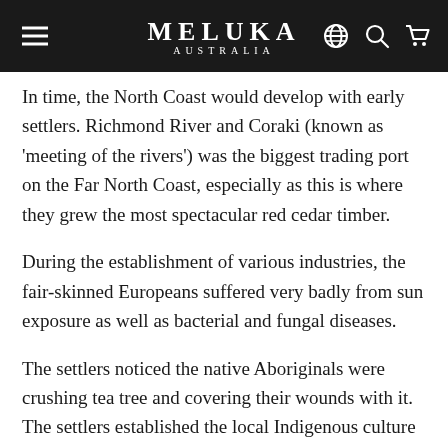MELUKA AUSTRALIA
In time, the North Coast would develop with early settlers. Richmond River and Coraki (known as 'meeting of the rivers') was the biggest trading port on the Far North Coast, especially as this is where they grew the most spectacular red cedar timber.
During the establishment of various industries, the fair-skinned Europeans suffered very badly from sun exposure as well as bacterial and fungal diseases.
The settlers noticed the native Aboriginals were crushing tea tree and covering their wounds with it. The settlers established the local Indigenous culture had an innate understanding of the tree's benefits. They followed their example to use the tree oil with a modern distilling technique and it wasn't long